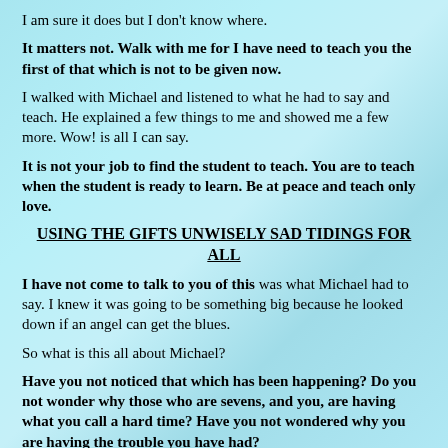I am sure it does but I don't know where.
It matters not. Walk with me for I have need to teach you the first of that which is not to be given now.
I walked with Michael and listened to what he had to say and teach. He explained a few things to me and showed me a few more. Wow! is all I can say.
It is not your job to find the student to teach. You are to teach when the student is ready to learn. Be at peace and teach only love.
USING THE GIFTS UNWISELY SAD TIDINGS FOR ALL
I have not come to talk to you of this was what Michael had to say. I knew it was going to be something big because he looked down if an angel can get the blues.
So what is this all about Michael?
Have you not noticed that which has been happening? Do you not wonder why those who are sevens, and you, are having what you call a hard time? Have you not wondered why you are having the trouble you have had?